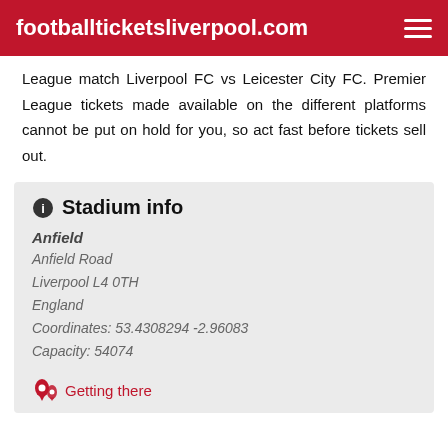footballticketsliverpool.com
League match Liverpool FC vs Leicester City FC. Premier League tickets made available on the different platforms cannot be put on hold for you, so act fast before tickets sell out.
Stadium info
Anfield
Anfield Road
Liverpool L4 0TH
England
Coordinates: 53.4308294 -2.96083
Capacity: 54074
Getting there